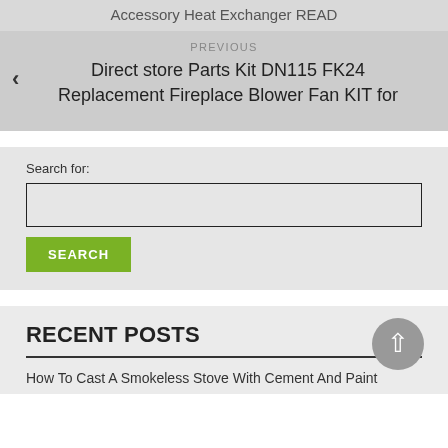Accessory Heat Exchanger READ
PREVIOUS
Direct store Parts Kit DN115 FK24 Replacement Fireplace Blower Fan KIT for
Search for:
SEARCH
RECENT POSTS
How To Cast A Smokeless Stove With Cement And Paint